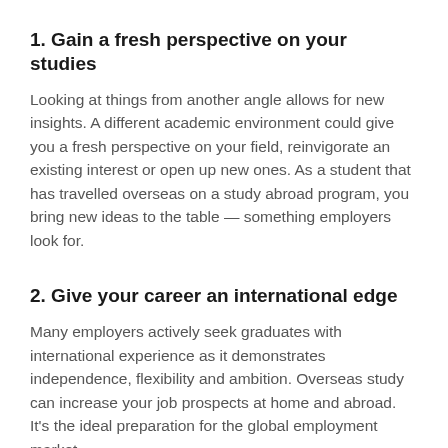1. Gain a fresh perspective on your studies
Looking at things from another angle allows for new insights. A different academic environment could give you a fresh perspective on your field, reinvigorate an existing interest or open up new ones. As a student that has travelled overseas on a study abroad program, you bring new ideas to the table — something employers look for.
2. Give your career an international edge
Many employers actively seek graduates with international experience as it demonstrates independence, flexibility and ambition. Overseas study can increase your job prospects at home and abroad. It's the ideal preparation for the global employment market.